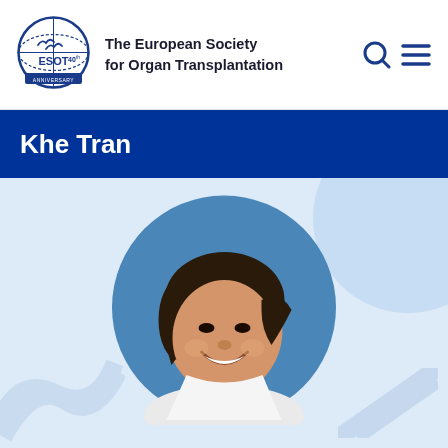[Figure (logo): ESOT 40th Anniversary logo — circular emblem with globe and birds, text ESOT 40th ANNIVERSARY]
The European Society
for Organ Transplantation
[Figure (other): Search and hamburger menu icons in dark blue]
Khe Tran
[Figure (photo): Circular portrait photo of Khe Tran, a woman with dark hair pulled back, smiling, wearing a white coat, on a blue background]